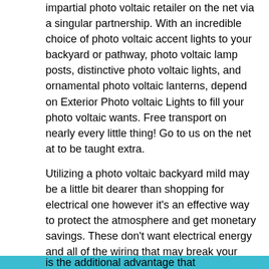impartial photo voltaic retailer on the net via a singular partnership. With an incredible choice of photo voltaic accent lights to your backyard or pathway, photo voltaic lamp posts, distinctive photo voltaic lights, and ornamental photo voltaic lanterns, depend on Exterior Photo voltaic Lights to fill your photo voltaic wants. Free transport on nearly every little thing! Go to us on the net at to be taught extra.
Utilizing a photo voltaic backyard mild may be a little bit dearer than shopping for electrical one however it's an effective way to protect the atmosphere and get monetary savings. These don't want electrical energy and all of the wiring that may break your grass and backyard. In addition they generate and retailer their very own vitality to be used at night time.
is the additional advantage that